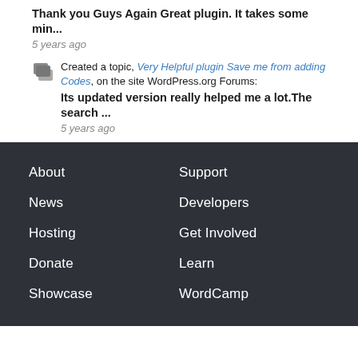Thank you Guys Again Great plugin. It takes some min...
5 years ago
Created a topic, Very Helpful plugin Save me from adding Codes, on the site WordPress.org Forums:
Its updated version really helped me a lot.The search ...
5 years ago
About
Support
News
Developers
Hosting
Get Involved
Donate
Learn
Showcase
WordCamp